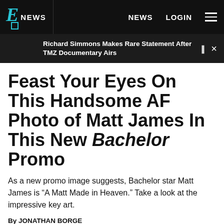E! NEWS  NEWS  LOGIN
Richard Simmons Makes Rare Statement After TMZ Documentary Airs
Feast Your Eyes On This Handsome AF Photo of Matt James In This New Bachelor Promo
As a new promo image suggests, Bachelor star Matt James is “A Matt Made in Heaven.” Take a look at the impressive key art.
By JONATHAN BORGE
DEC 07, 2020 7:15 PM  TAGS